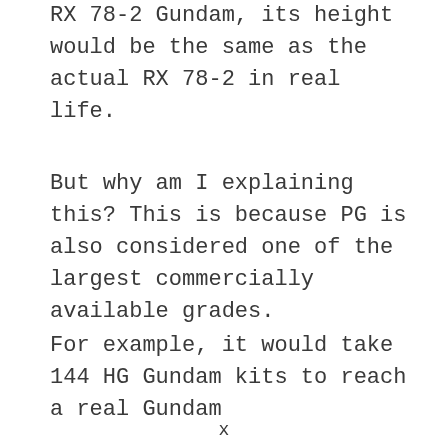RX 78-2 Gundam, its height would be the same as the actual RX 78-2 in real life.
But why am I explaining this? This is because PG is also considered one of the largest commercially available grades.
For example, it would take 144 HG Gundam kits to reach a real Gundam
x